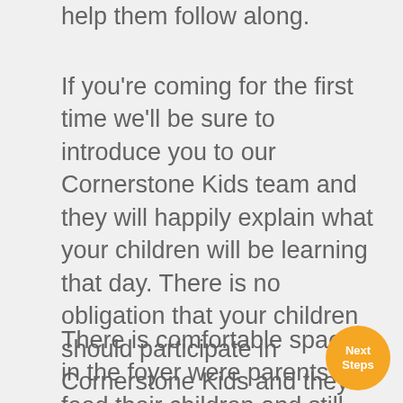help them follow along.
If you're coming for the first time we'll be sure to introduce you to our Cornerstone Kids team and they will happily explain what your children will be learning that day. There is no obligation that your children should participate in Cornerstone Kids and they are welcome to remain in the main service if you wish.
There is comfortable space in the foyer were parents can feed their children and still listen to the teaching from the